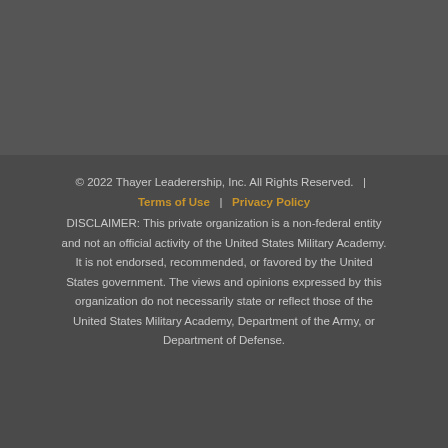[Figure (other): Dark gray banner/header area at the top of the page]
© 2022 Thayer Leaderership, Inc. All Rights Reserved.  |  Terms of Use  |  Privacy Policy DISCLAIMER: This private organization is a non-federal entity and not an official activity of the United States Military Academy. It is not endorsed, recommended, or favored by the United States government. The views and opinions expressed by this organization do not necessarily state or reflect those of the United States Military Academy, Department of the Army, or Department of Defense.